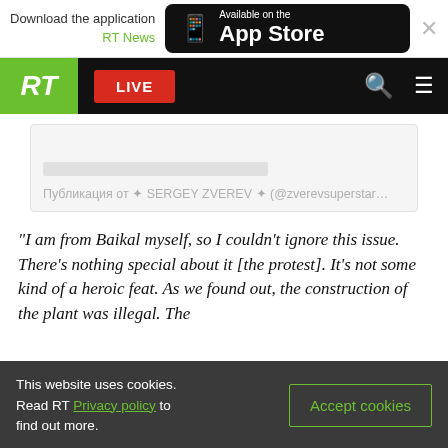Download the application RT News — Available on the App Store
[Figure (screenshot): RT website navigation bar with green RT logo, red LIVE button, search and menu icons on black background]
[Figure (screenshot): Social media embed placeholder showing Russian text: Публикация от ✦ SERGEY ZVEREV ✦ (@zverevsuperstar...]
“I am from Baikal myself, so I couldn’t ignore this issue. There’s nothing special about it [the protest]. It’s not some kind of a heroic feat. As we found out, the construction of the plant was illegal. The
This website uses cookies. Read RT Privacy policy to find out more. Accept cookies